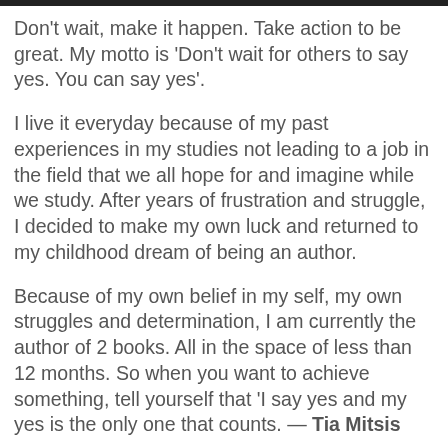Don't wait, make it happen. Take action to be great. My motto is 'Don't wait for others to say yes. You can say yes'.
I live it everyday because of my past experiences in my studies not leading to a job in the field that we all hope for and imagine while we study. After years of frustration and struggle, I decided to make my own luck and returned to my childhood dream of being an author.
Because of my own belief in my self, my own struggles and determination, I am currently the author of 2 books. All in the space of less than 12 months. So when you want to achieve something, tell yourself that 'I say yes and my yes is the only one that counts. — Tia Mitsis